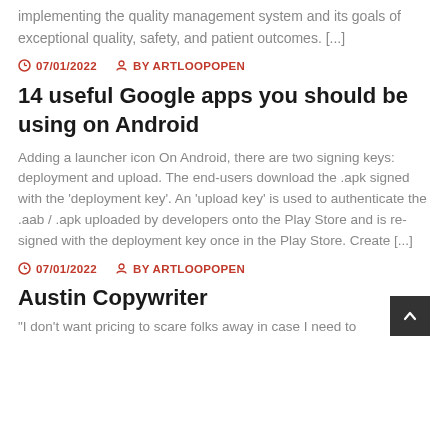implementing the quality management system and its goals of exceptional quality, safety, and patient outcomes. [...]
07/01/2022   BY ARTLOOPOPEN
14 useful Google apps you should be using on Android
Adding a launcher icon On Android, there are two signing keys: deployment and upload. The end-users download the .apk signed with the 'deployment key'. An 'upload key' is used to authenticate the .aab / .apk uploaded by developers onto the Play Store and is re-signed with the deployment key once in the Play Store. Create [...]
07/01/2022   BY ARTLOOPOPEN
Austin Copywriter
"I don't want pricing to scare folks away in case I need to